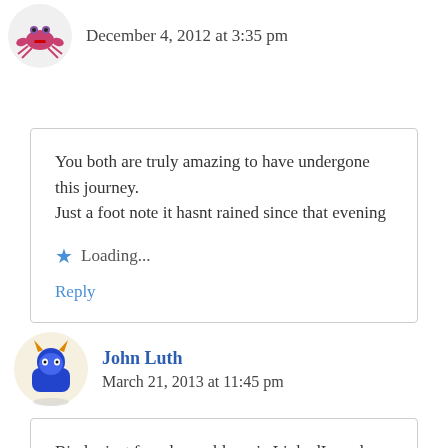December 4, 2012 at 3:35 pm
You both are truly amazing to have undergone this journey.
Just a foot note it hasnt rained since that evening
Loading...
Reply
John Luth
March 21, 2013 at 11:45 pm
Bindu, just found your blog via LinkedIn and